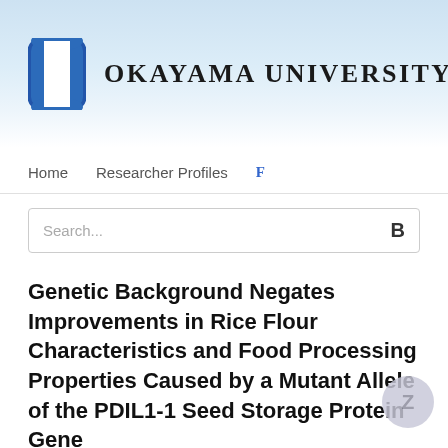[Figure (logo): Okayama University logo: blue stylized 'I' letterform with white center stripe, followed by bold serif text 'OKAYAMA UNIVERSITY' in dark color on a light blue gradient banner background.]
Home   Researcher Profiles   F
Search...
Genetic Background Negates Improvements in Rice Flour Characteristics and Food Processing Properties Caused by a Mutant Allele of the PDIL1-1 Seed Storage Protein Gene